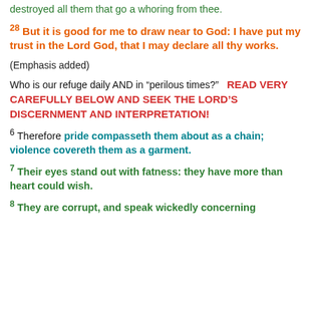destroyed all them that go a whoring from thee.
28 But it is good for me to draw near to God: I have put my trust in the Lord God, that I may declare all thy works.
(Emphasis added)
Who is our refuge daily AND in “perilous times?”   READ VERY CAREFULLY BELOW AND SEEK THE LORD’S DISCERNMENT AND INTERPRETATION!
6 Therefore pride compasseth them about as a chain; violence covereth them as a garment.
7 Their eyes stand out with fatness: they have more than heart could wish.
8 They are corrupt, and speak wickedly concerning